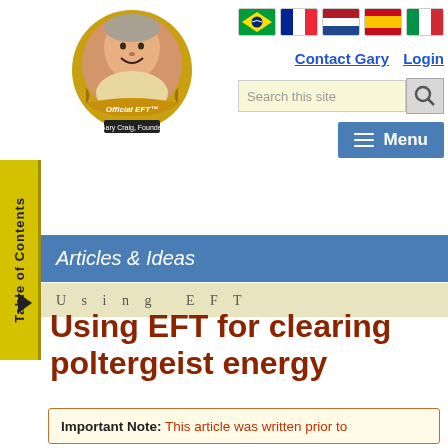[Figure (logo): Official EFT Gary Craig Founder circular logo with person's photo and golden banner]
[Figure (illustration): Five country flags: Brazil, France, Netherlands, Spain, Italy]
Contact Gary   Login
Search this site
Menu
Table of Contents
Articles & Ideas
Using EFT
Using EFT for clearing poltergeist energy
Important Note: This article was written prior to